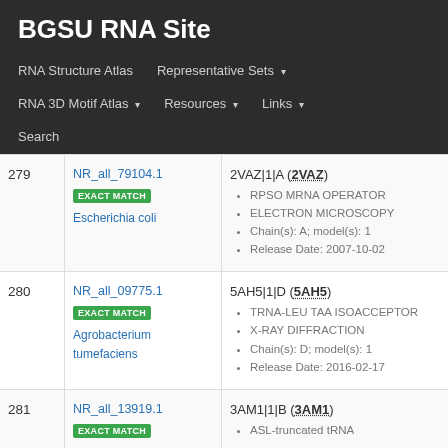BGSU RNA Site
RNA Structure Atlas
Representative Sets ▾
RNA 3D Motif Atlas ▾
Resources ▾
Links ▾
Search
| # | ID | Entry |
| --- | --- | --- |
| 279 | NR_all_79104.1
EXACT MATCH
Escherichia coli | 2VAZ|1|A (2VAZ)
• RPSO MRNA OPERATOR
• ELECTRON MICROSCOPY
• Chain(s): A; model(s): 1
• Release Date: 2007-10-02 |
| 280 | NR_all_09775.1
EXACT MATCH
Agrobacterium tumefaciens | 5AH5|1|D (5AH5)
• TRNA-LEU TAA ISOACCEPTOR
• X-RAY DIFFRACTION
• Chain(s): D; model(s): 1
• Release Date: 2016-02-17 |
| 281 | NR_all_13919.1
EXACT MATCH | 3AM1|1|B (3AM1)
• ASL-truncated tRNA |